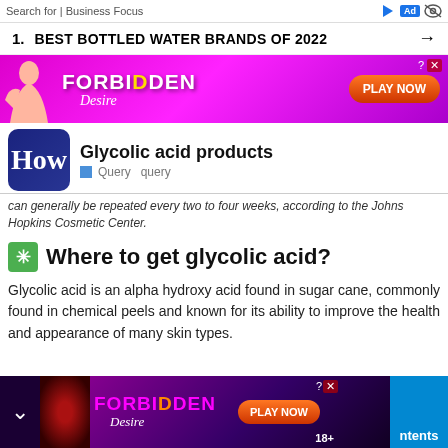Search for | Business Focus
1.  BEST BOTTLED WATER BRANDS OF 2022 →
[Figure (infographic): Advertisement banner for 'FORBIDDEN Desire' game with pink/purple gradient background, illustrated woman, and PLAY NOW button]
[Figure (logo): How logo - dark blue rounded square with white 'How' text]
Glycolic acid products
■ Query  query
can generally be repeated every two to four weeks, according to the Johns Hopkins Cosmetic Center.
✳ Where to get glycolic acid?
Glycolic acid is an alpha hydroxy acid found in sugar cane, commonly found in chemical peels and known for its ability to improve the health and appearance of many skin types.
[Figure (infographic): Advertisement banner for 'FORBIDDEN Desire' game with dark purple background, lips image, PLAY NOW button, 18+ badge, and Contents tab]